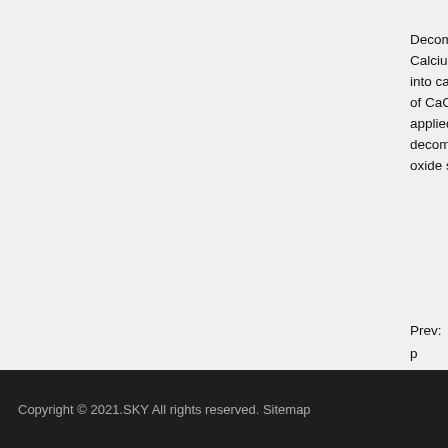Decomposition of Calcium Carbonate: Calcium carbonate decomposes into calcium oxide and carbon dioxide. A mixture of CaCO3 and CaO was prepared and heat was applied. The mixture was observed to decompose. The resulting calcium oxide s...
Prev: p
Next: m
Copyright © 2021.SKY All rights reserved. Sitemap